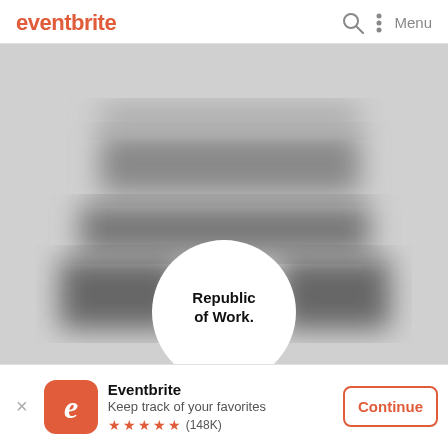eventbrite
[Figure (screenshot): Blurred/redacted background image of a venue or event space. In the center bottom, a white circular logo badge reads 'Republic of Work.']
Republic of Work.
[Figure (logo): Eventbrite orange rounded-square app icon with white italic 'e' letter]
Eventbrite
Keep track of your favorites
★ ★ ★ ★ ★ (148K)
Continue